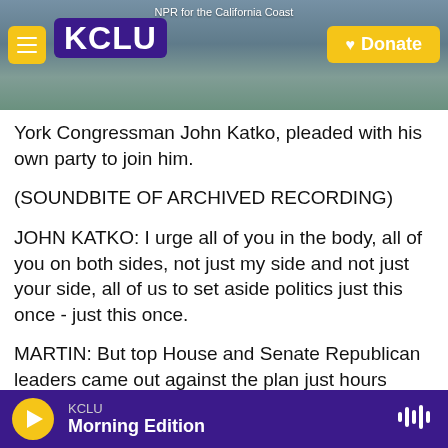[Figure (screenshot): KCLU NPR radio station website header banner showing coastal California background image with KCLU logo, hamburger menu button, and Donate button. Text reads 'NPR for the California Coast' at top.]
York Congressman John Katko, pleaded with his own party to join him.
(SOUNDBITE OF ARCHIVED RECORDING)
JOHN KATKO: I urge all of you in the body, all of you on both sides, not just my side and not just your side, all of us to set aside politics just this once - just this once.
MARTIN: But top House and Senate Republican leaders came out against the plan just hours before the House vote, drawing ire from even some
KCLU
Morning Edition